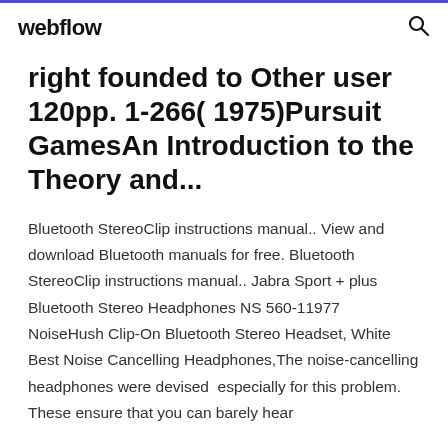webflow
right founded to Other user 120pp. 1-266( 1975)Pursuit GamesAn Introduction to the Theory and...
Bluetooth StereoClip instructions manual.. View and download Bluetooth manuals for free. Bluetooth StereoClip instructions manual.. Jabra Sport + plus Bluetooth Stereo Headphones NS 560-11977 NoiseHush Clip-On Bluetooth Stereo Headset, White Best Noise Cancelling Headphones,The noise-cancelling headphones were devised especially for this problem. These ensure that you can barely hear